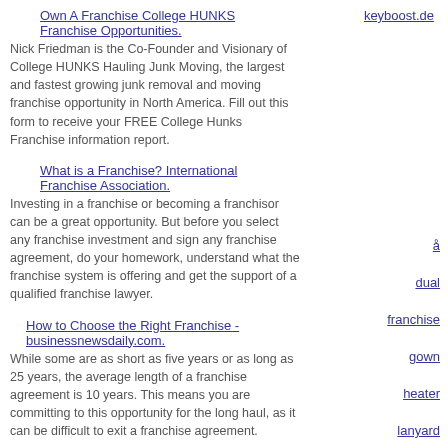keyboost.de
Own A Franchise College HUNKS Franchise Opportunities.
Nick Friedman is the Co-Founder and Visionary of College HUNKS Hauling Junk Moving, the largest and fastest growing junk removal and moving franchise opportunity in North America. Fill out this form to receive your FREE College Hunks Franchise information report.
What is a Franchise? International Franchise Association.
Investing in a franchise or becoming a franchisor can be a great opportunity. But before you select any franchise investment and sign any franchise agreement, do your homework, understand what the franchise system is offering and get the support of a qualified franchise lawyer.
How to Choose the Right Franchise - businessnewsdaily.com.
While some are as short as five years or as long as 25 years, the average length of a franchise agreement is 10 years. This means you are committing to this opportunity for the long haul, as it can be difficult to exit a franchise agreement.
Buzz Franchise Brands.
Welcome to buzz Franchise Brands! Buzz Franchise Brands is a fast-growing multi-brand franchising company that builds companies that get people talking. We surround ourselves with smart, entrepreneurial-minded people who love
å
dual
franchise
gown
heater
lanyard